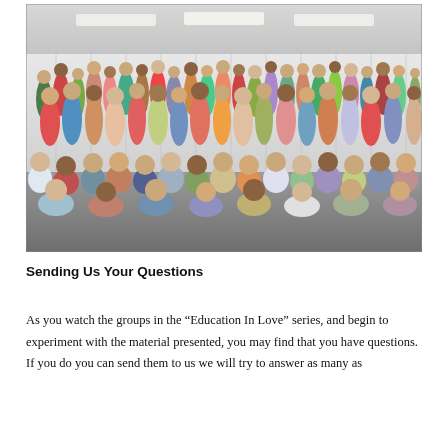[Figure (photo): Large group photo of approximately 60-70 people of various ages posing together in a large room with white curtain backdrop and carpeted floor. People are arranged in multiple rows, some sitting on the floor in the front rows and others standing in the back rows.]
Sending Us Your Questions
As you watch the groups in the “Education In Love” series, and begin to experiment with the material presented, you may find that you have questions. If you do you can send them to us we will try to answer as many as